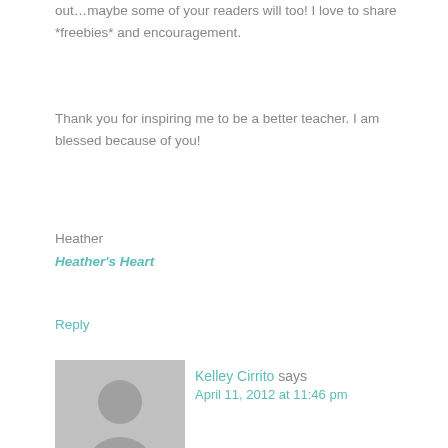out…maybe some of your readers will too! I love to share *freebies* and encouragement.
Thank you for inspiring me to be a better teacher. I am blessed because of you!
Heather
Heather's Heart
Reply
[Figure (illustration): Default user avatar placeholder showing a silhouette of a person on grey background]
Kelley Cirrito says
April 11, 2012 at 11:46 pm